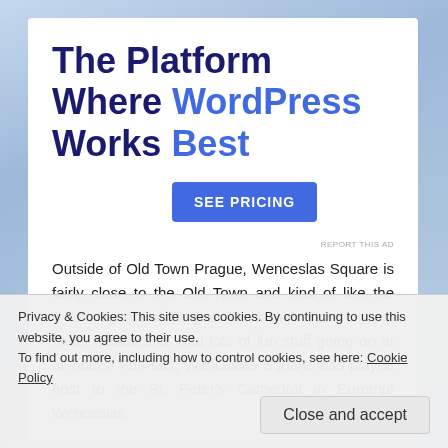The Platform Where WordPress Works Best
SEE PRICING
REPORT THIS AD
Outside of Old Town Prague, Wenceslas Square is fairly close to the Old Town and kind of like the Times Square of Prague. Think High Street shops, chain restaurants, and lots of fun stuff going on at all hours! Fun fact, Wenceslas Square also played host to the St. Peter's Cathedral in Eurotrip! Wenceslas
Privacy & Cookies: This site uses cookies. By continuing to use this website, you agree to their use.
To find out more, including how to control cookies, see here: Cookie Policy
Close and accept